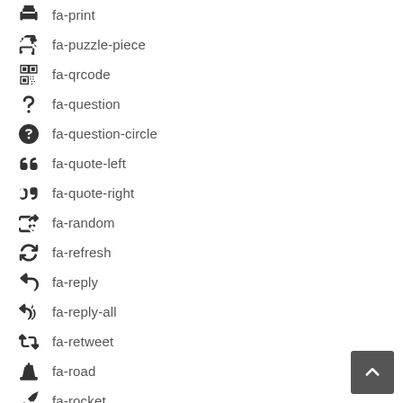fa-print
fa-puzzle-piece
fa-qrcode
fa-question
fa-question-circle
fa-quote-left
fa-quote-right
fa-random
fa-refresh
fa-reply
fa-reply-all
fa-retweet
fa-road
fa-rocket